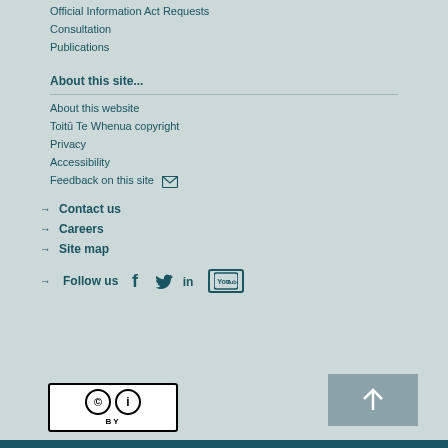Official Information Act Requests
Consultation
Publications
About this site...
About this website
Toitū Te Whenua copyright
Privacy
Accessibility
Feedback on this site
→ Contact us
→ Careers
→ Site map
→ Follow us
[Figure (logo): Creative Commons BY license badge]
[Figure (other): Scroll to top button with upward arrow]